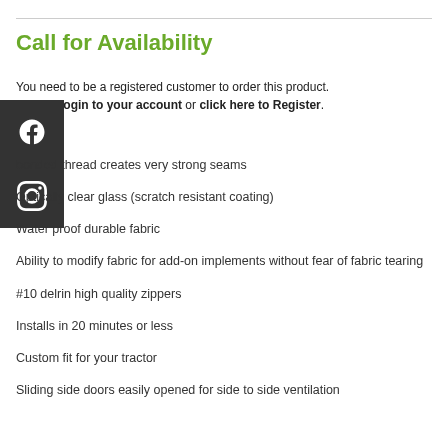Call for Availability
You need to be a registered customer to order this product. Please Login to your account or click here to Register.
bonded thread creates very strong seams
Optically clear glass (scratch resistant coating)
Water proof durable fabric
Ability to modify fabric for add-on implements without fear of fabric tearing
#10 delrin high quality zippers
Installs in 20 minutes or less
Custom fit for your tractor
Sliding side doors easily opened for side to side ventilation